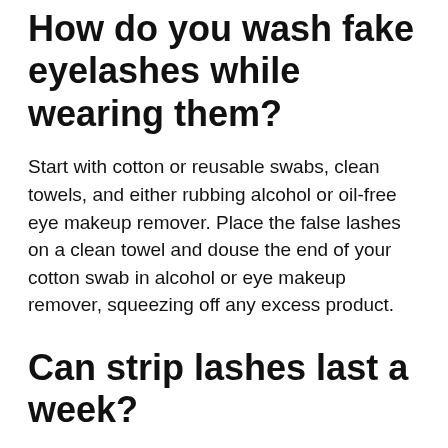How do you wash fake eyelashes while wearing them?
Start with cotton or reusable swabs, clean towels, and either rubbing alcohol or oil-free eye makeup remover. Place the false lashes on a clean towel and douse the end of your cotton swab in alcohol or eye makeup remover, squeezing off any excess product.
Can strip lashes last a week?
Unlike other strip lashes, which you take off at the end of the day, you can put on a little more bonding solution and have the lashes last for a couple of days or even a full week…